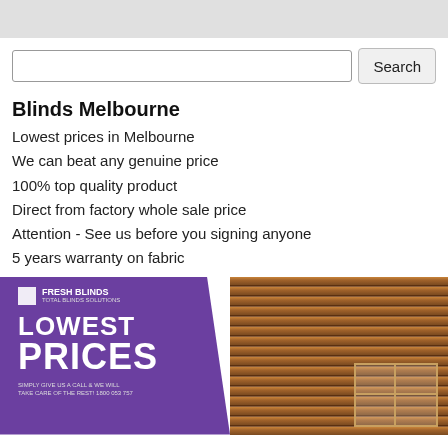[Figure (screenshot): Gray header bar at top of webpage]
[Figure (screenshot): Search input box with Search button]
Blinds Melbourne
Lowest prices in Melbourne
We can beat any genuine price
100% top quality product
Direct from factory whole sale price
Attention - See us before you signing anyone
5 years warranty on fabric
[Figure (photo): Fresh Blinds advertisement image showing 'LOWEST PRICES' text on purple background alongside wooden venetian blinds on windows]